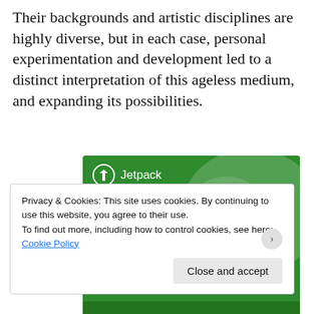Their backgrounds and artistic disciplines are highly diverse, but in each case, personal experimentation and development led to a distinct interpretation of this ageless medium, and expanding its possibilities.
[Figure (illustration): Jetpack advertisement banner with green background showing 'The best real-time WordPress backup plugin' with Jetpack logo at top left and decorative circles]
Privacy & Cookies: This site uses cookies. By continuing to use this website, you agree to their use.
To find out more, including how to control cookies, see here:
Cookie Policy
Close and accept